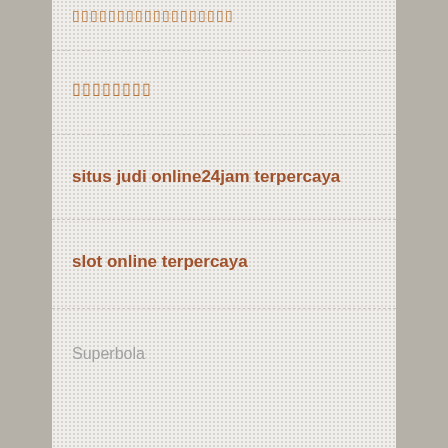▯▯▯▯▯▯▯▯▯▯▯▯▯▯▯▯▯▯
▯▯▯▯▯▯▯▯
situs judi online24jam terpercaya
slot online terpercaya
Superbola